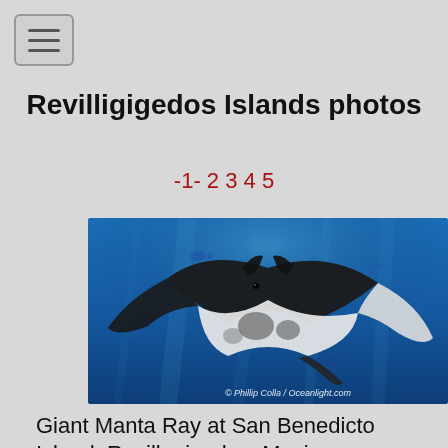☰ (hamburger menu button)
Revilligigedos Islands photos
-1- 2 3 4 5
[Figure (photo): Underwater photo of a Giant Manta Ray swimming against a blue ocean background with small fish visible. Watermark reads: © Phillip Colla / Oceanlight.com]
Giant Manta Ray at San Benedicto Island, Revillagigedos, Mexico